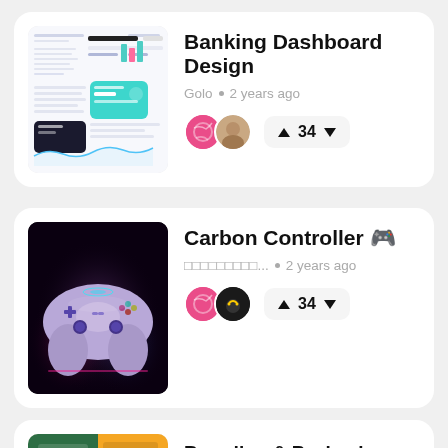[Figure (screenshot): Banking dashboard UI screenshot showing mobile app screens with cards and charts]
Banking Dashboard Design
Golo • 2 years ago
[Figure (photo): Photo of a glowing purple gaming controller (Carbon Controller) against a dark background]
Carbon Controller 🎮
□□□□□□□□□... • 2 years ago
[Figure (photo): Branding and packaging design items partially visible at bottom of page]
Branding & Packaging -